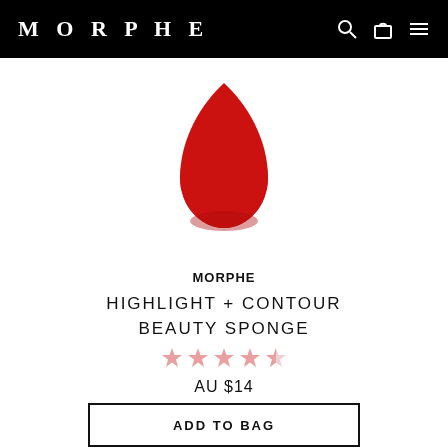MORPHE
[Figure (photo): Red teardrop-shaped beauty sponge on white background]
MORPHE
HIGHLIGHT + CONTOUR BEAUTY SPONGE
[Figure (other): 4.5 out of 5 star rating shown in pink/rose stars]
AU $14
ADD TO BAG